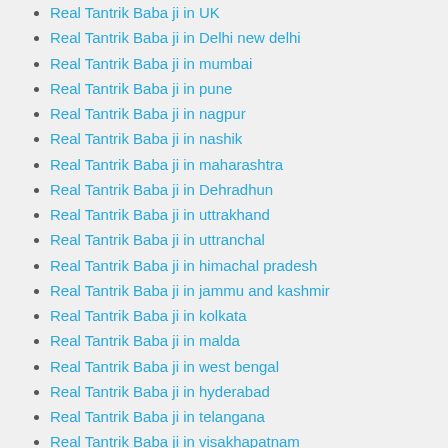Real Tantrik Baba ji in UK
Real Tantrik Baba ji in Delhi new delhi
Real Tantrik Baba ji in mumbai
Real Tantrik Baba ji in pune
Real Tantrik Baba ji in nagpur
Real Tantrik Baba ji in nashik
Real Tantrik Baba ji in maharashtra
Real Tantrik Baba ji in Dehradhun
Real Tantrik Baba ji in uttrakhand
Real Tantrik Baba ji in uttranchal
Real Tantrik Baba ji in himachal pradesh
Real Tantrik Baba ji in jammu and kashmir
Real Tantrik Baba ji in kolkata
Real Tantrik Baba ji in malda
Real Tantrik Baba ji in west bengal
Real Tantrik Baba ji in hyderabad
Real Tantrik Baba ji in telangana
Real Tantrik Baba ji in visakhapatnam
Real Tantrik Baba ji in secunderabad
Real Tantrik Baba ji in Andhra pradesh
Real Tantrik Baba ji in chennai
Real Tantrik Baba ji in coimbatore
Real Tantrik Baba ji in madurai